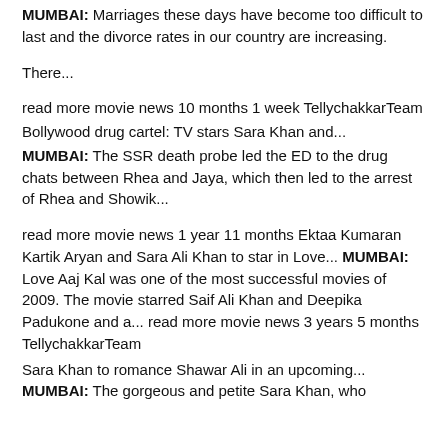MUMBAI: Marriages these days have become too difficult to last and the divorce rates in our country are increasing.
There...
read more movie news 10 months 1 week TellychakkarTeam
Bollywood drug cartel: TV stars Sara Khan and...
MUMBAI: The SSR death probe led the ED to the drug chats between Rhea and Jaya, which then led to the arrest of Rhea and Showik...
read more movie news 1 year 11 months Ektaa Kumaran Kartik Aryan and Sara Ali Khan to star in Love... MUMBAI: Love Aaj Kal was one of the most successful movies of 2009. The movie starred Saif Ali Khan and Deepika Padukone and a... read more movie news 3 years 5 months TellychakkarTeam
Sara Khan to romance Shawar Ali in an upcoming...
MUMBAI: The gorgeous and petite Sara Khan, who